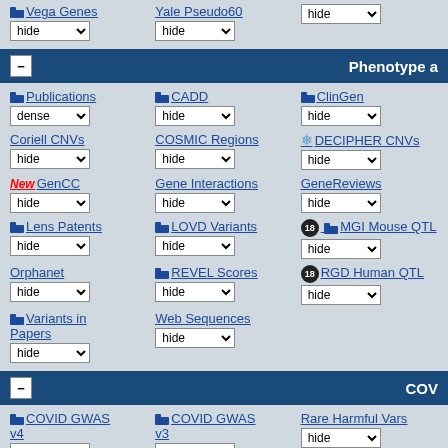Vega Genes hide | Yale Pseudo60 hide | (hide)
- Phenotype a
Publications dense
CADD hide
ClinGen hide
Coriell CNVs hide
COSMIC Regions hide
DECIPHER CNVs hide
New GenCC hide
Gene Interactions hide
GeneReviews hide
Lens Patents hide
LOVD Variants hide
MGI Mouse QTL hide
Orphanet hide
REVEL Scores hide
RGD Human QTL hide
Variants in Papers hide
Web Sequences hide
- COV
COVID GWAS v4 hide
COVID GWAS v3 hide
Rare Harmful Vars hide